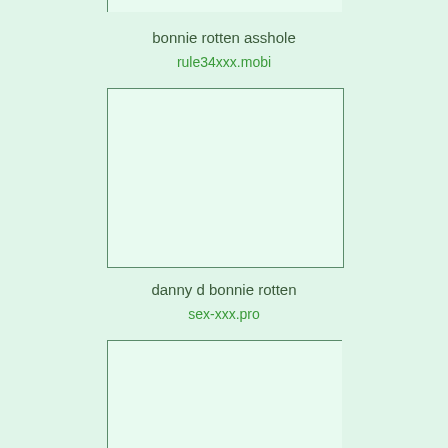bonnie rotten asshole
rule34xxx.mobi
[Figure (other): Placeholder image box with light green background and border]
danny d bonnie rotten
sex-xxx.pro
[Figure (other): Placeholder image box with light green background and border]